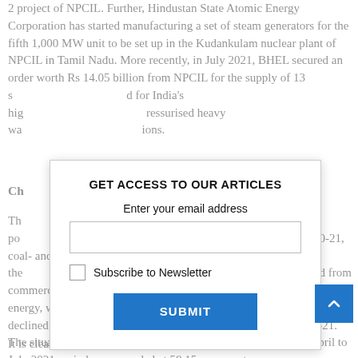2 project of NPCIL. Further, Hindustan State Atomic Energy Corporation has started manufacturing a set of steam generators for the fifth 1,000 MW unit to be set up in the Kudankulam nuclear plant of NPCIL in Tamil Nadu. More recently, in July 2021, BHEL secured an order worth Rs 14.05 billion from NPCIL for the supply of 13 steam generators to be installed for India's high-temperature pressurised heavy water reactors under construction.
Challenges for Thermal Power
The thermal power sector continues to grapple with the thermal power paradox. Although the installed capacity added during 2020-21, coal- and lignite-based capacity grew by 1,090 MW, one of the lowest additions of coal-based capacity in recent years, prompted from commercial and industrial consumers, and to accommodate renewable energy, which has must-run status. Coal- and lignite-based PLFs declined from 77.5 per cent in 2009-10 to 53.37 per cent in 2020-21. The situation has now started to improve and the PLF for the April to July 2021 period was recorded at 58.15 per cent.
It is clear that upcoming opportunities for BTG manufacturers in
GET ACCESS TO OUR ARTICLES
Enter your email address
Subscribe to Newsletter
SUBMIT